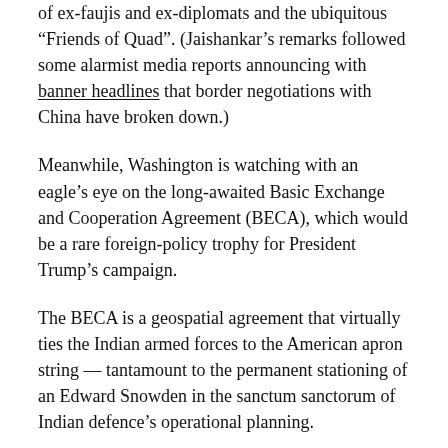of ex-faujis and ex-diplomats and the ubiquitous “Friends of Quad”. (Jaishankar’s remarks followed some alarmist media reports announcing with banner headlines that border negotiations with China have broken down.)
Meanwhile, Washington is watching with an eagle’s eye on the long-awaited Basic Exchange and Cooperation Agreement (BECA), which would be a rare foreign-policy trophy for President Trump’s campaign.
The BECA is a geospatial agreement that virtually ties the Indian armed forces to the American apron string — tantamount to the permanent stationing of an Edward Snowden in the sanctum sanctorum of Indian defence’s operational planning.
The US assumes that BECA could be the stepping stone to a de facto US-Indian military alliance.